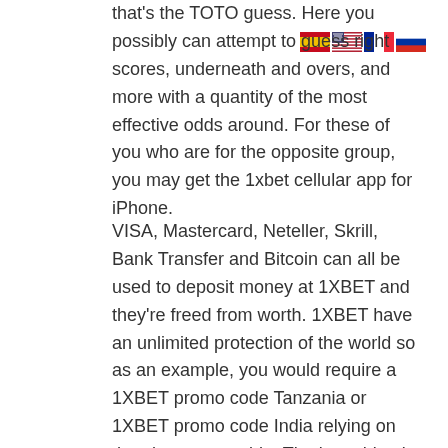[Figure (other): Four country flag icons (Spain, USA, France, Russia) displayed horizontally in the top-right corner]
that's the TOTO guess. Here you possibly can attempt to guess right scores, underneath and overs, and more with a quantity of the most effective odds around. For these of you who are for the opposite group, you may get the 1xbet cellular app for iPhone.
VISA, Mastercard, Neteller, Skrill, Bank Transfer and Bitcoin can all be used to deposit money at 1XBET and they're freed from worth. 1XBET have an unlimited protection of the world so as an example, you would require a 1XBET promo code Tanzania or 1XBET promo code India relying on the place you reside. The best thing is that it runs not simply from the smartphone but additionally on the TV bins and tablets. Meanwhile, cellular clients are